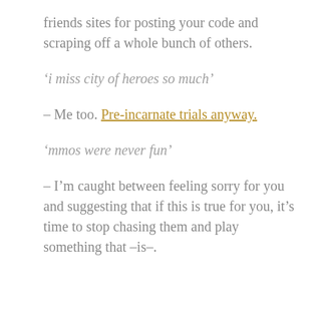friends sites for posting your code and scraping off a whole bunch of others.
‘i miss city of heroes so much’
– Me too. Pre-incarnate trials anyway.
‘mmos were never fun’
– I’m caught between feeling sorry for you and suggesting that if this is true for you, it’s time to stop chasing them and play something that –is–.